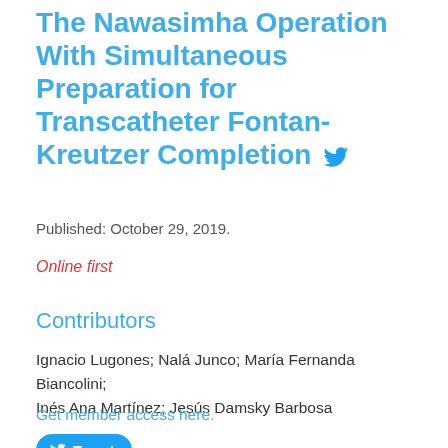The Nawasimha Operation With Simultaneous Preparation for Transcatheter Fontan-Kreutzer Completion
Published: October 29, 2019.
Online first
Contributors
Ignacio Lugones; Nalá Junco; María Fernanda Biancolini; Inés Ana Martínez; Jesús Damsky Barbosa
Get member access here.